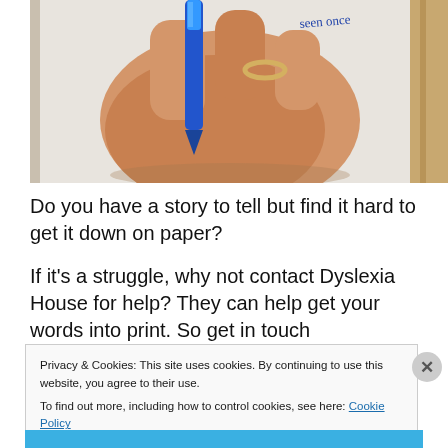[Figure (photo): A hand holding a blue pen, writing on white paper. A ring is visible on one finger. Wood surface visible at edge.]
Do you have a story to tell but find it hard to get it down on paper?

If it's a struggle, why not contact Dyslexia House for help? They can help get your words into print. So get in touch
Privacy & Cookies: This site uses cookies. By continuing to use this website, you agree to their use.
To find out more, including how to control cookies, see here: Cookie Policy
Close and accept